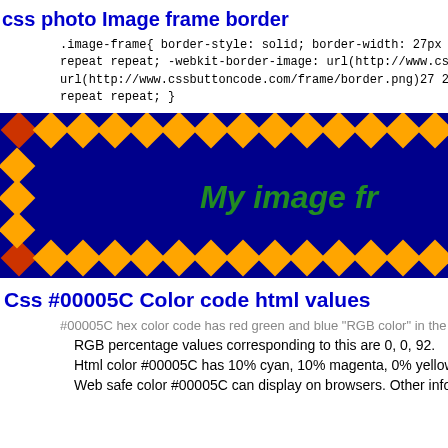css photo Image frame border
.image-frame{ border-style: solid; border-width: 27px 27px 27px 27px; -moz-border-image: url(http://www.cssbuttoncode.com/frame/border.png)27 27 27 27 repeat repeat; -webkit-border-image: url(http://www.cssbuttoncode.com/frame/border.png)27 27 27 27 repeat repeat; border-image: url(http://www.cssbuttoncode.com/frame/border.png)27 27 27 27 repeat repeat; }
[Figure (illustration): A decorative image frame with a dark navy blue background, diamond-patterned border in orange/gold with red accent diamonds on corners, and green italic text 'My image fr' visible on the right side]
Css #00005C Color code html values
#00005C hex color code has red green and blue "RGB color" in the proportion
RGB percentage values corresponding to this are 0, 0, 92.
Html color #00005C has 10% cyan, 10% magenta, 0% yellow and 163% black
Web safe color #00005C can display on browsers. Other information such as c